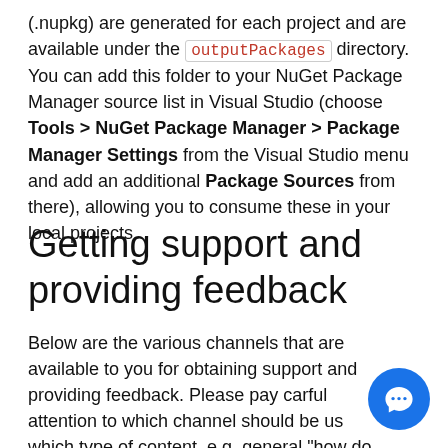(.nupkg) are generated for each project and are available under the outputPackages directory. You can add this folder to your NuGet Package Manager source list in Visual Studio (choose Tools > NuGet Package Manager > Package Manager Settings from the Visual Studio menu and add an additional Package Sources from there), allowing you to consume these in your local projects.
Getting support and providing feedback
Below are the various channels that are available to you for obtaining support and providing feedback. Please pay carful attention to which channel should be used for which type of content. e.g. general "how do I..." questions should be asked on Stack Overflow, Twitter or Gitter, with GitHub issues being for feature requests and